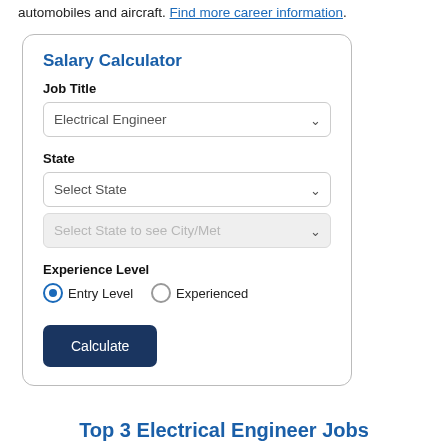automobiles and aircraft. Find more career information.
Salary Calculator
Job Title
Electrical Engineer
State
Select State
Select State to see City/Met
Experience Level
Entry Level
Experienced
Calculate
Top 3 Electrical Engineer Jobs